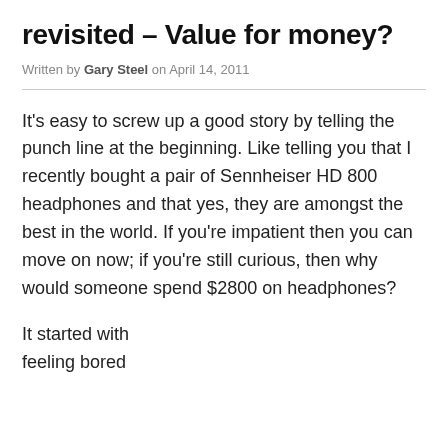revisited – Value for money?
Written by Gary Steel on April 14, 2011
It's easy to screw up a good story by telling the punch line at the beginning. Like telling you that I recently bought a pair of Sennheiser HD 800 headphones and that yes, they are amongst the best in the world. If you're impatient then you can move on now; if you're still curious, then why would someone spend $2800 on headphones?
It started with feeling bored